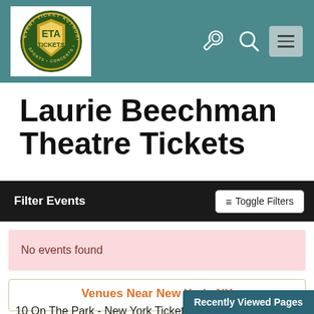[Figure (logo): ETA Tickets logo — circular green badge with gold shield, text: EVENT TICKET AUTHORITY, SPORTS CONCERTS THEATER]
Laurie Beechman Theatre Tickets
Filter Events   ≡ Toggle Filters
No events found
Venues Near New York, NY
10 On The Park - New York Tickets
Recently Viewed Pages